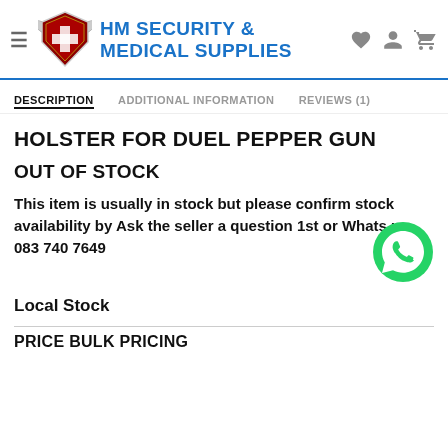HM SECURITY & MEDICAL SUPPLIES
DESCRIPTION
ADDITIONAL INFORMATION
REVIEWS (1)
HOLSTER FOR DUEL PEPPER GUN
OUT OF STOCK
This item is usually in stock but please confirm stock availability by Ask the seller a question 1st or Whats up 083 740 7649
Local Stock
PRICE BULK PRICING